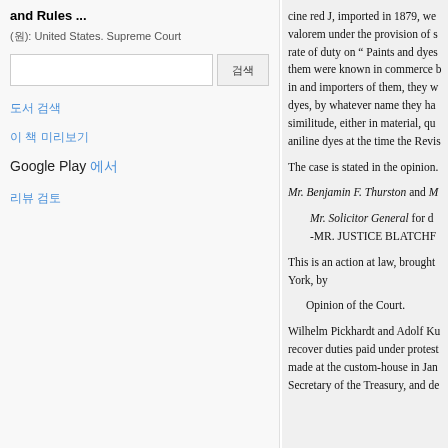and Rules ...
(원): United States. Supreme Court
도서 검색
이 책 미리보기
Google Play 에서
리뷰 검토
cine red J, imported in 1879, were subject to an ad valorem under the provision of schedule G, at the rate of duty on " Paints and dyes, " etc., and that them were known in commerce by dealers in and importers of them, they were aniline dyes, by whatever name they had, in similitude, either in material, quality... aniline dyes at the time the Revis...
The case is stated in the opinion.
Mr. Benjamin F. Thurston and M...
Mr. Solicitor General for de...
-MR. JUSTICE BLATCHF...
This is an action at law, brought ... York, by
Opinion of the Court.
Wilhelm Pickhardt and Adolf Ku... recover duties paid under protest ... made at the custom-house in Jan... Secretary of the Treasury, and de...